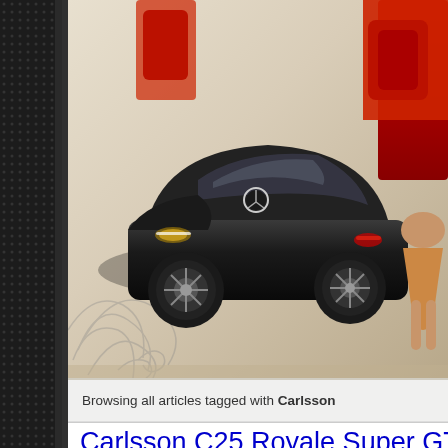[Figure (photo): Black Mercedes sports car with red interior, doors open, artistic swirl decorations, woman visible in background, on a light cream/tan background. Car is a Mercedes SLK or similar. Photo has a stylized automotive website header look.]
Browsing all articles tagged with Carlsson
Carlsson C25 Royale Super GT
arman   Mercedes Benz   Carlsson
Even though the first edition of the Carlsson C25 supercar w... an improved version called the Royale at the Geneva Motor...
Based on the MercedesSL65 AMG the C25 features a totally... tuned biturbo V12 engine that produces 753 horsepower (55... torque which had to be limited to 1150 Nm.